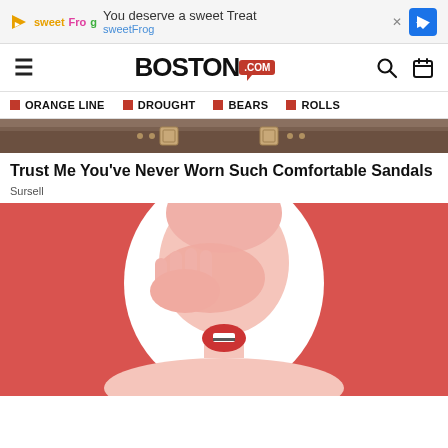[Figure (screenshot): SweetFrog advertisement banner with logo, text 'You deserve a sweet Treat sweetFrog', and blue arrow icon]
BOSTON.COM
ORANGE LINE
DROUGHT
BEARS
ROLLS
[Figure (photo): Close-up photograph of brown leather sandal buckle straps]
Trust Me You've Never Worn Such Comfortable Sandals
Sursell
[Figure (illustration): Illustrated person with pink skin on red background, covering face with hand, mouth open showing teeth]